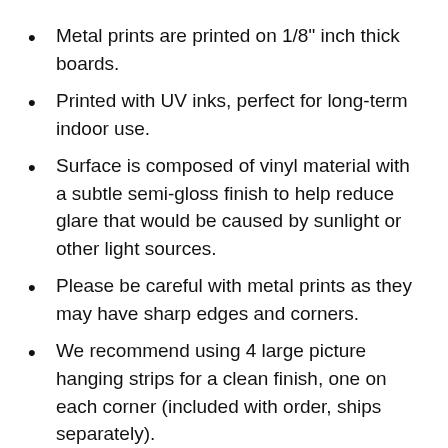Metal prints are printed on 1/8" inch thick boards.
Printed with UV inks, perfect for long-term indoor use.
Surface is composed of vinyl material with a subtle semi-gloss finish to help reduce glare that would be caused by sunlight or other light sources.
Please be careful with metal prints as they may have sharp edges and corners.
We recommend using 4 large picture hanging strips for a clean finish, one on each corner (included with order, ships separately).
For 36" x 24" and 45" x 30" prints, we recommend using our side clamp standoffs (included with order, ships separately).
For any metal prints larger than 45" x 30", we